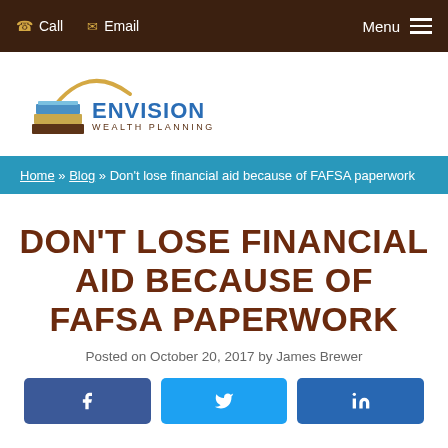Call  Email  Menu
[Figure (logo): Envision Wealth Planning logo with layered earth-tone icon and golden arc]
Home » Blog » Don't lose financial aid because of FAFSA paperwork
DON'T LOSE FINANCIAL AID BECAUSE OF FAFSA PAPERWORK
Posted on October 20, 2017 by James Brewer
[Figure (other): Social share buttons: Facebook, Twitter, LinkedIn]